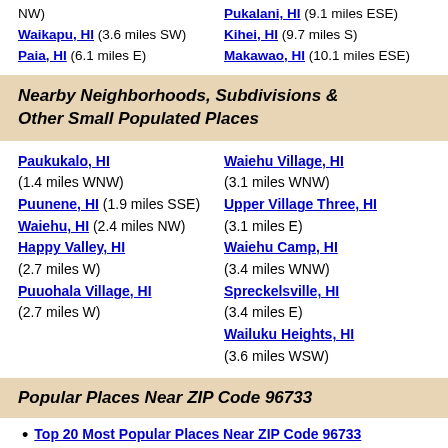NW)
Waikapu, HI (3.6 miles SW)
Paia, HI (6.1 miles E)
Pukalani, HI (9.1 miles ESE)
Kihei, HI (9.7 miles S)
Makawao, HI (10.1 miles ESE)
Nearby Neighborhoods, Subdivisions & Other Small Populated Places
Paukukalo, HI (1.4 miles WNW)
Puunene, HI (1.9 miles SSE)
Waiehu, HI (2.4 miles NW)
Happy Valley, HI (2.7 miles W)
Puuohala Village, HI (2.7 miles W)
Waiehu Village, HI (3.1 miles WNW)
Upper Village Three, HI (3.1 miles E)
Waiehu Camp, HI (3.4 miles WNW)
Spreckelsville, HI (3.4 miles E)
Wailuku Heights, HI (3.6 miles WSW)
Popular Places Near ZIP Code 96733
Top 20 Most Popular Places Near ZIP Code 96733